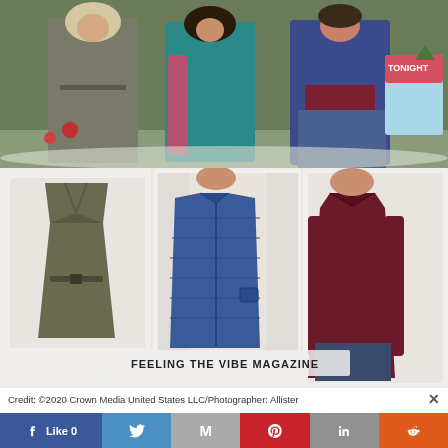[Figure (photo): Three people standing outdoors in winter/Christmas setting. A woman in a grey belted coat on the left, a woman in teal blouse and pink scarf in the middle, and a man in a navy blue puffer vest on the right. A sign reading TONIGHT is visible to the right. Christmas decorations in background.]
[Figure (photo): Collage of three clothing items with watermark FEELING THE VIBE MAGAZINE. Left: an olive/dark grey belted trench coat. Center: a man wearing a blue quilted puffer vest. Right: a man wearing a dark burgundy/maroon crewneck sweater.]
Credit: ©2020 Crown Media United States LLC/Photographer: Allister
[Figure (infographic): Social media sharing bar with Like 0 (Facebook), Twitter bird, Gmail M, Pinterest P, LinkedIn in, Reddit alien icon buttons.]